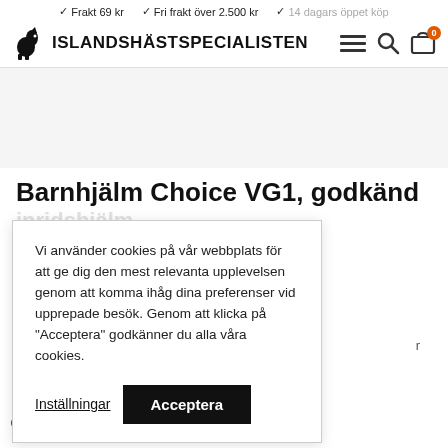✓ Frakt 69 kr  ✓ Fri frakt över 2.500 kr  ✓ 14 dagars öppet köp
ISLANDSHÄSTSPECIALISTEN
Barnhjälm Choice VG1, godkänd inridshjälm
Vi använder cookies på vår webbplats för att ge dig den mest relevanta upplevelsen genom att komma ihåg dina preferenser vid upprepade besök. Genom att klicka på "Acceptera" godkänner du alla våra cookies.
Inställningar
Acceptera